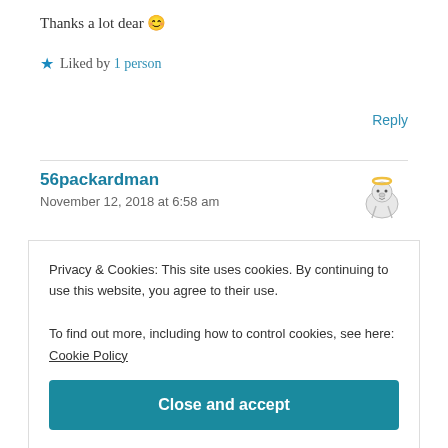Thanks a lot dear 😊
★ Liked by 1 person
Reply
56packardman
November 12, 2018 at 6:58 am
This is a delicious dish! We really enjoy curry in our
Privacy & Cookies: This site uses cookies. By continuing to use this website, you agree to their use.
To find out more, including how to control cookies, see here: Cookie Policy
Close and accept